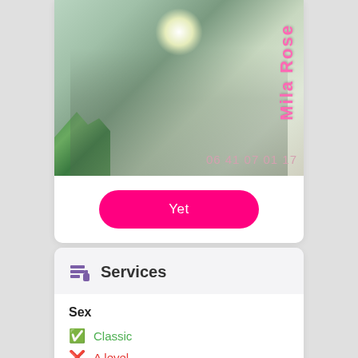[Figure (photo): Photo of a person on a bed with plants visible, overlaid with pink text 'Mila Rose' written vertically and phone number '06 41 07 01 17']
Yet
Services
Sex
Classic
A level